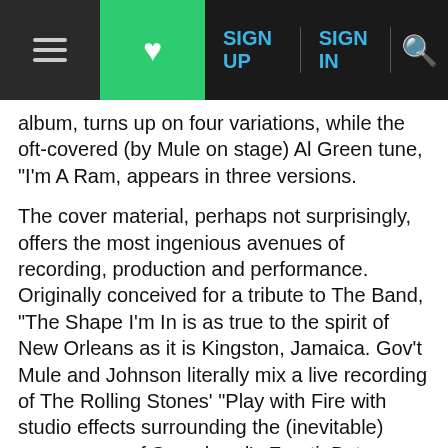≡ ♥ SIGN UP SIGN IN 🔍
album, turns up on four variations, while the oft-covered (by Mule on stage) Al Green tune, "I'm A Ram, appears in three versions.
The cover material, perhaps not surprisingly, offers the most ingenious avenues of recording, production and performance. Originally conceived for a tribute to The Band, "The Shape I'm In is as true to the spirit of New Orleans as it is Kingston, Jamaica. Gov't Mule and Johnson literally mix a live recording of The Rolling Stones' "Play with Fire with studio effects surrounding the (inevitable) appearance of Spearhead's Franti. But perhaps Otis Redding's "Hard to Handle sounds most natural on the Mighty High context; recorded last year at the Beacon with Toots Hibbert, the singing is soulful and the band is smartly augmented with a three-piece